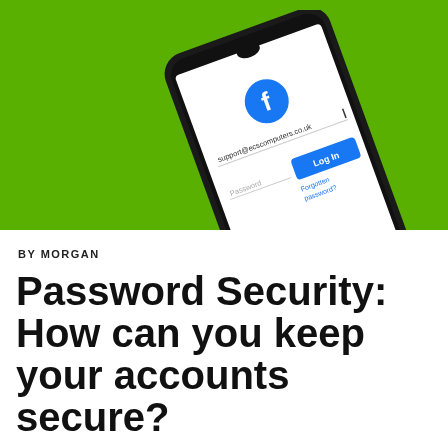[Figure (photo): A smartphone displaying the Facebook login screen with the Facebook logo, email field showing 'support@ecscomputers.co.uk', a password field, a blue 'Log In' button, and 'Forgotten password?' link. The phone is on a bright green background.]
BY MORGAN
Password Security: How can you keep your accounts secure?